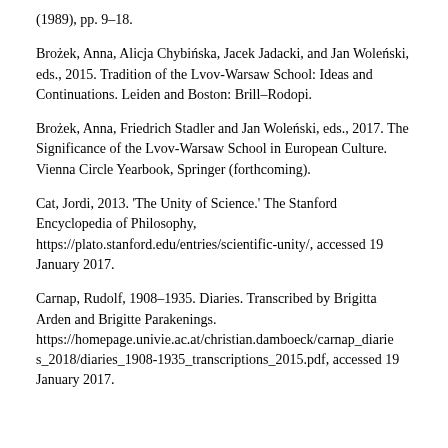(1989), pp. 9–18.
Brożek, Anna, Alicja Chybińska, Jacek Jadacki, and Jan Woleński, eds., 2015. Tradition of the Lvov-Warsaw School: Ideas and Continuations. Leiden and Boston: Brill–Rodopi.
Brożek, Anna, Friedrich Stadler and Jan Woleński, eds., 2017. The Significance of the Lvov-Warsaw School in European Culture. Vienna Circle Yearbook, Springer (forthcoming).
Cat, Jordi, 2013. 'The Unity of Science.' The Stanford Encyclopedia of Philosophy, https://plato.stanford.edu/entries/scientific-unity/, accessed 19 January 2017.
Carnap, Rudolf, 1908–1935. Diaries. Transcribed by Brigitta Arden and Brigitte Parakenings. https://homepage.univie.ac.at/christian.damboeck/carnap_diaries_2018/diaries_1908-1935_transcriptions_2015.pdf, accessed 19 January 2017.